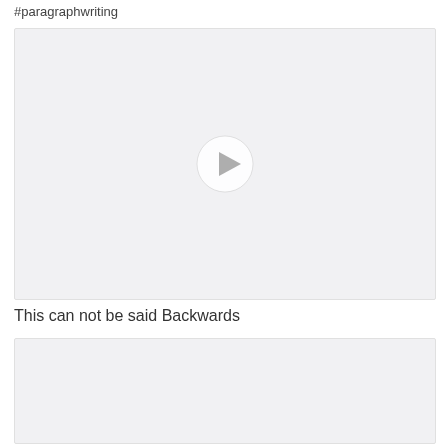#paragraphwriting
[Figure (screenshot): Video player placeholder with a circular play button icon centered on a light gray background]
This can not be said Backwards
[Figure (screenshot): Second video player placeholder, light gray background, partially visible]